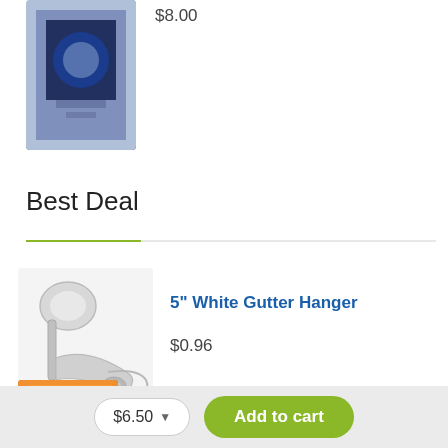$8.00
[Figure (photo): Product image partially visible at top of page, blue packaging]
Best Deal
[Figure (photo): 5 inch White Gutter Hanger product image, silver/chrome metal hanger]
5" White Gutter Hanger
$0.96
[Figure (photo): 12CT Ultra Wash Wipes product image, orange and blue packaging]
12CT Ultra Wash Wipes
$6.50
Add to cart